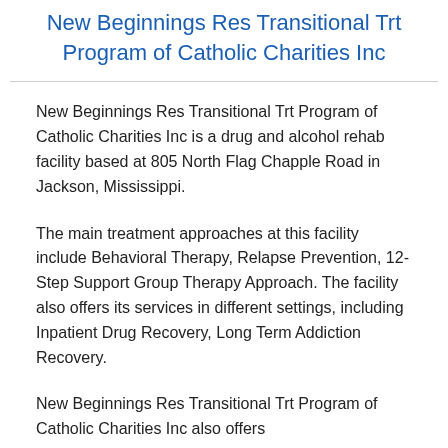New Beginnings Res Transitional Trt Program of Catholic Charities Inc
New Beginnings Res Transitional Trt Program of Catholic Charities Inc is a drug and alcohol rehab facility based at 805 North Flag Chapple Road in Jackson, Mississippi.
The main treatment approaches at this facility include Behavioral Therapy, Relapse Prevention, 12-Step Support Group Therapy Approach. The facility also offers its services in different settings, including Inpatient Drug Recovery, Long Term Addiction Recovery.
New Beginnings Res Transitional Trt Program of Catholic Charities Inc also offers